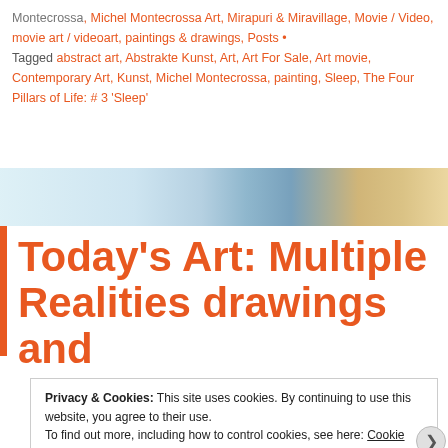Montecrossa, Michel Montecrossa Art, Mirapuri & Miravillage, Movie / Video, movie art / videoart, paintings & drawings, Posts • Tagged abstract art, Abstrakte Kunst, Art, Art For Sale, Art movie, Contemporary Art, Kunst, Michel Montecrossa, painting, Sleep, The Four Pillars of Life: # 3 'Sleep'
[Figure (photo): Decorative abstract art banner image with light blue and gold/brown painterly artwork]
Today's Art: Multiple Realities drawings and
Privacy & Cookies: This site uses cookies. By continuing to use this website, you agree to their use.
To find out more, including how to control cookies, see here: Cookie Policy
Close and accept